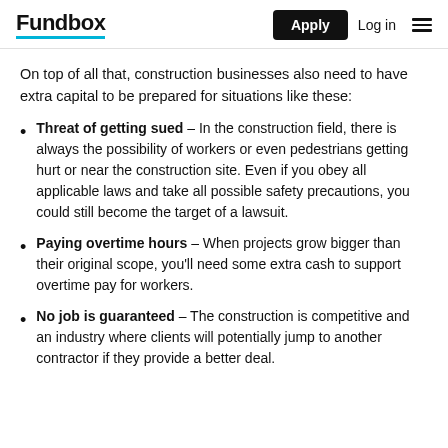Fundbox | Apply | Log in
On top of all that, construction businesses also need to have extra capital to be prepared for situations like these:
Threat of getting sued – In the construction field, there is always the possibility of workers or even pedestrians getting hurt or near the construction site. Even if you obey all applicable laws and take all possible safety precautions, you could still become the target of a lawsuit.
Paying overtime hours – When projects grow bigger than their original scope, you'll need some extra cash to support overtime pay for workers.
No job is guaranteed – The construction is competitive and an industry where clients will potentially jump to another contractor if they provide a better deal.